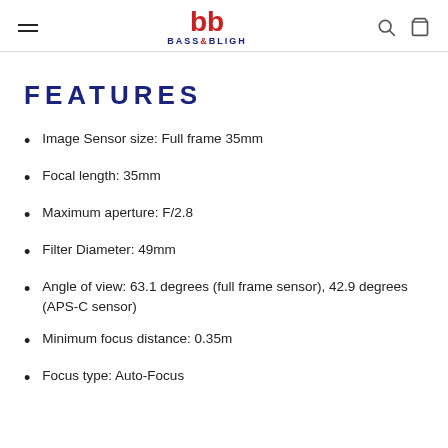Bass & Bligh
FEATURES
Image Sensor size: Full frame 35mm
Focal length: 35mm
Maximum aperture: F/2.8
Filter Diameter: 49mm
Angle of view: 63.1 degrees (full frame sensor), 42.9 degrees (APS-C sensor)
Minimum focus distance: 0.35m
Focus type: Auto-Focus